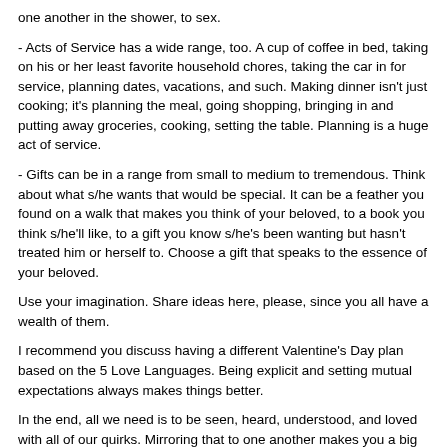one another in the shower, to sex.
- Acts of Service has a wide range, too. A cup of coffee in bed, taking on his or her least favorite household chores, taking the car in for service, planning dates, vacations, and such. Making dinner isn't just cooking; it's planning the meal, going shopping, bringing in and putting away groceries, cooking, setting the table. Planning is a huge act of service.
- Gifts can be in a range from small to medium to tremendous. Think about what s/he wants that would be special. It can be a feather you found on a walk that makes you think of your beloved, to a book you think s/he'll like, to a gift you know s/he's been wanting but hasn't treated him or herself to. Choose a gift that speaks to the essence of your beloved.
Use your imagination. Share ideas here, please, since you all have a wealth of them.
I recommend you discuss having a different Valentine's Day plan based on the 5 Love Languages. Being explicit and setting mutual expectations always makes things better.
In the end, all we need is to be seen, heard, understood, and loved with all of our quirks. Mirroring that to one another makes you a big person.